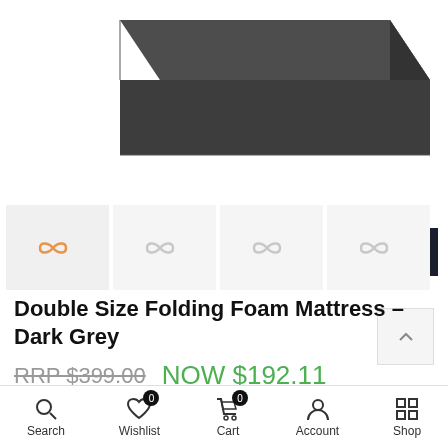[Figure (photo): Dark grey folding foam mattress product photo on white background, showing corner/edge of the mattress angled view]
[Figure (screenshot): Row of four thumbnail images with infinity-loop icons on light grey backgrounds, first thumbnail active/selected with orange icon]
Double Size Folding Foam Mattress – Dark Grey
RRP $399.00  NOW $192.11
Make 4 interest-free payments of $48.03 with
[Figure (screenshot): Mobile website bottom navigation bar with icons for Search, Wishlist (badge 0), Cart (badge 0), Account, and Shop]